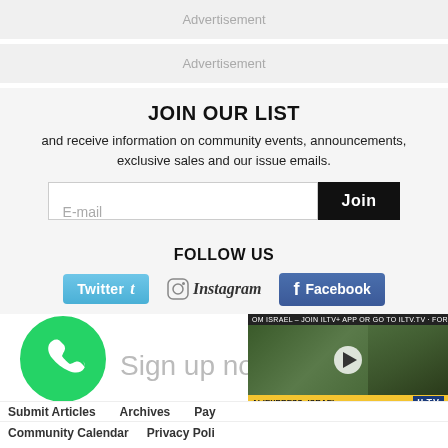Advertisement
Advertisement
JOIN OUR LIST
and receive information on community events, announcements, exclusive sales and our issue emails.
E-mail | Join
FOLLOW US
[Figure (infographic): Social media buttons: Twitter, Instagram, Facebook]
[Figure (infographic): WhatsApp logo circle with Sign up now text, and a video overlay with ALIEXPRESS: ISRAEL news thumbnail from ILTV]
Submit Articles   Archives   Pay...
Community Calendar   Privacy Poli...